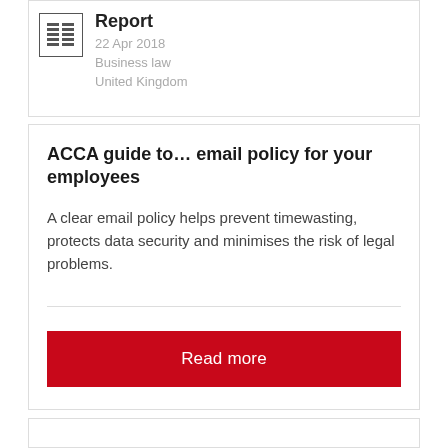[Figure (other): Document/report icon — a square icon with two columns of horizontal lines representing a report]
Report
22 Apr 2018
Business law
United Kingdom
ACCA guide to… email policy for your employees
A clear email policy helps prevent timewasting, protects data security and minimises the risk of legal problems.
Read more